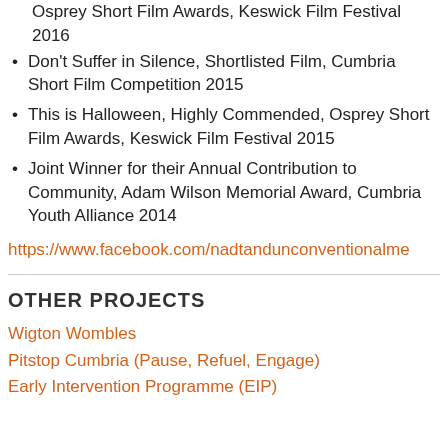Osprey Short Film Awards, Keswick Film Festival 2016
Don't Suffer in Silence, Shortlisted Film, Cumbria Short Film Competition 2015
This is Halloween, Highly Commended, Osprey Short Film Awards, Keswick Film Festival 2015
Joint Winner for their Annual Contribution to Community, Adam Wilson Memorial Award, Cumbria Youth Alliance 2014
https://www.facebook.com/nadtandunconventionalme
OTHER PROJECTS
Wigton Wombles
Pitstop Cumbria (Pause, Refuel, Engage)
Early Intervention Programme (EIP)